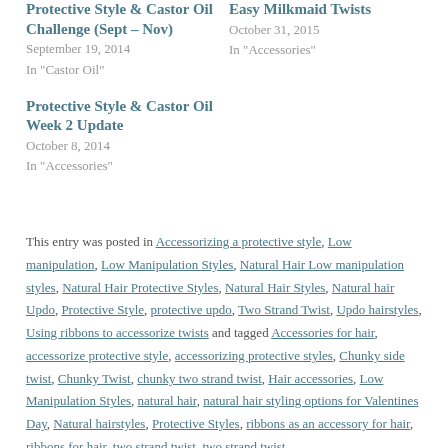Protective Style & Castor Oil Challenge (Sept – Nov)
September 19, 2014
In "Castor Oil"
Easy Milkmaid Twists
October 31, 2015
In "Accessories"
Protective Style & Castor Oil Week 2 Update
October 8, 2014
In "Accessories"
This entry was posted in Accessorizing a protective style, Low manipulation, Low Manipulation Styles, Natural Hair Low manipulation styles, Natural Hair Protective Styles, Natural Hair Styles, Natural hair Updo, Protective Style, protective updo, Two Strand Twist, Updo hairstyles, Using ribbons to accessorize twists and tagged Accessories for hair, accessorize protective style, accessorizing protective styles, Chunky side twist, Chunky Twist, chunky two strand twist, Hair accessories, Low Manipulation Styles, natural hair, natural hair styling options for Valentines Day, Natural hairstyles, Protective Styles, ribbons as an accessory for hair, ribbons for hair, two strand twist, two strand twist